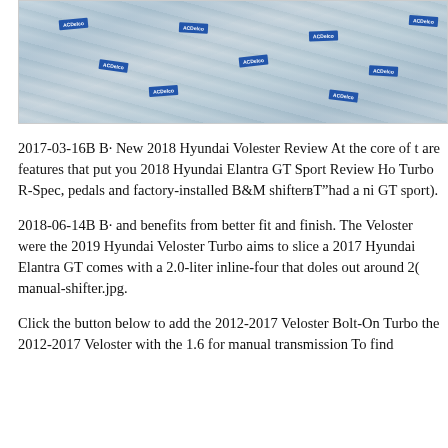[Figure (photo): Photo of automotive parts in plastic packaging bags with blue labels, placed on a surface]
2017-03-16B B· New 2018 Hyundai Volester Review At the core of t are features that put you 2018 Hyundai Elantra GT Sport Review Ho Turbo R-Spec, pedals and factory-installed B&M shifterвЂ"had a ni GT sport).
2018-06-14B B· and benefits from better fit and finish. The Veloster were the 2019 Hyundai Veloster Turbo aims to slice a 2017 Hyundai Elantra GT comes with a 2.0-liter inline-four that doles out around 2( manual-shifter.jpg.
Click the button below to add the 2012-2017 Veloster Bolt-On Turbo the 2012-2017 Veloster with the 1.6 for manual transmission To find